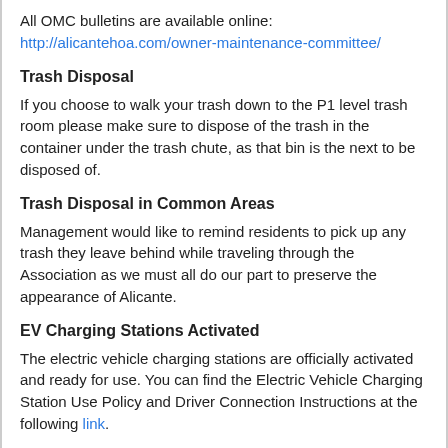All OMC bulletins are available online: http://alicantehoa.com/owner-maintenance-committee/
Trash Disposal
If you choose to walk your trash down to the P1 level trash room please make sure to dispose of the trash in the container under the trash chute, as that bin is the next to be disposed of.
Trash Disposal in Common Areas
Management would like to remind residents to pick up any trash they leave behind while traveling through the Association as we must all do our part to preserve the appearance of Alicante.
EV Charging Stations Activated
The electric vehicle charging stations are officially activated and ready for use. You can find the Electric Vehicle Charging Station Use Policy and Driver Connection Instructions at the following link.
Please follow the Driver Connection Instructions to request to connect to Alicante. Once Management...